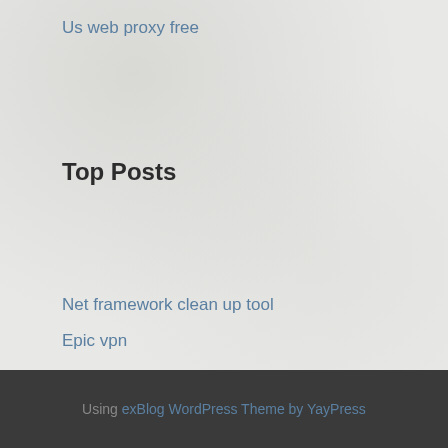Us web proxy free
Top Posts
Net framework clean up tool
Epic vpn
Freedom ip erreur 619
Playstations 3
Change ip to uk
Using exBlog WordPress Theme by YayPress